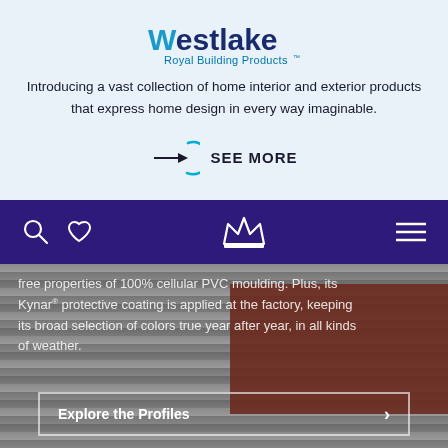[Figure (logo): Westlake Royal Building Products logo with crown icon]
Introducing a vast collection of home interior and exterior products that express home design in every way imaginable.
[Figure (infographic): SEE MORE button with arrow and circle icon]
[Figure (screenshot): Dark purple navigation bar with search icon, heart icon, crown logo, and hamburger menu]
free properties of 100% cellular PVC moulding. Plus, its Kynar® protective coating is applied at the factory, keeping its broad selection of colors true year after year, in all kinds of weather.
[Figure (photo): Gray textured siding panels with dark brown/red panel overlay]
Explore the Profiles